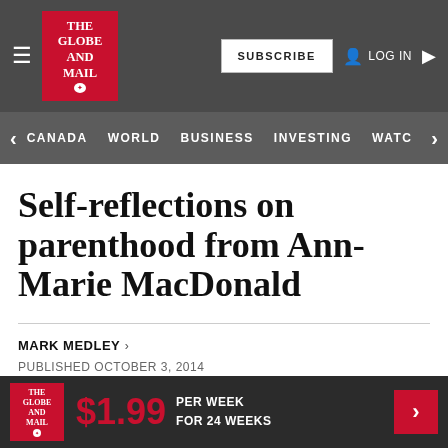The Globe and Mail — SUBSCRIBE | LOG IN
CANADA  WORLD  BUSINESS  INVESTING  WATC
Self-reflections on parenthood from Ann-Marie MacDonald
MARK MEDLEY >
PUBLISHED OCTOBER 3, 2014
This article was published more than 7 years ago. Some information may no longer be current.
$1.99 PER WEEK FOR 24 WEEKS